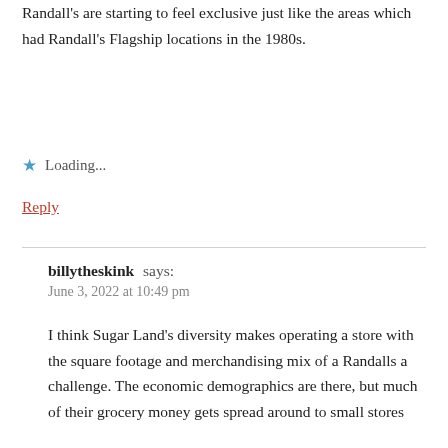Randall's are starting to feel exclusive just like the areas which had Randall's Flagship locations in the 1980s.
Loading...
Reply
billytheskink says:
June 3, 2022 at 10:49 pm
I think Sugar Land's diversity makes operating a store with the square footage and merchandising mix of a Randalls a challenge. The economic demographics are there, but much of their grocery money gets spread around to small stores